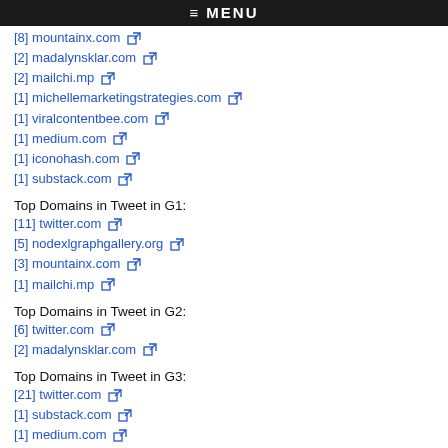≡ MENU
[8] mountainx.com
[2] madalynsklar.com
[2] mailchi.mp
[1] michellemarketingstrategies.com
[1] viralcontentbee.com
[1] medium.com
[1] iconohash.com
[1] substack.com
Top Domains in Tweet in G1:
[11] twitter.com
[5] nodexlgraphgallery.org
[3] mountainx.com
[1] mailchi.mp
Top Domains in Tweet in G2:
[6] twitter.com
[2] madalynsklar.com
Top Domains in Tweet in G3:
[21] twitter.com
[1] substack.com
[1] medium.com
[1] mailchi.mp
Top Domains in Tweet in G4: